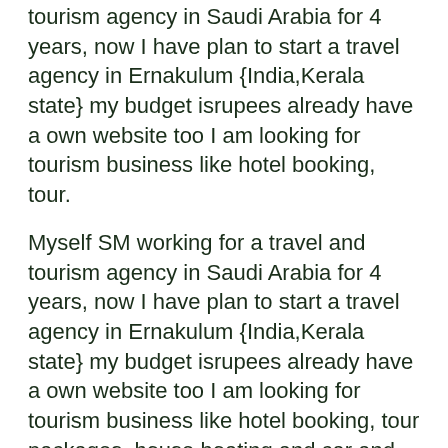tourism agency in Saudi Arabia for 4 years, now I have plan to start a travel agency in Ernakulum {India,Kerala state} my budget isrupees already have a own website too I am looking for tourism business like hotel booking, tour.
Myself SM working for a travel and tourism agency in Saudi Arabia for 4 years, now I have plan to start a travel agency in Ernakulum {India,Kerala state} my budget isrupees already have a own website too I am looking for tourism business like hotel booking, tour packages, house boating and car and bus rents.
Travel and tourism is a fun and rewarding industry. Starting with a good business plan will help you succeed in this exciting field. To get started, check out a sample business plan for an upscale travel agency, international travel agency, sightseeing tours business, and other travel related business.
The Business plan for Travel Agency should entail both